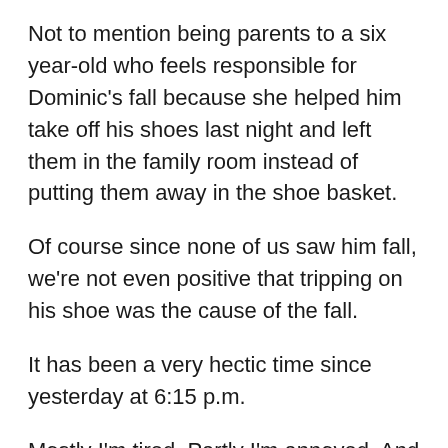Not to mention being parents to a six year-old who feels responsible for Dominic's fall because she helped him take off his shoes last night and left them in the family room instead of putting them away in the shoe basket.
Of course since none of us saw him fall, we're not even positive that tripping on his shoe was the cause of the fall.
It has been a very hectic time since yesterday at 6:15 p.m.
Mostly I'm tired. Partly I'm annoyed. And my heart goes out to struggling Dominic.
We have had a few visitors at the hospital and